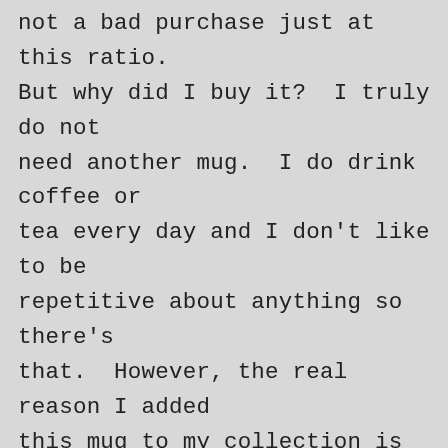not a bad purchase just at this ratio. But why did I buy it? I truly do not need another mug. I do drink coffee or tea every day and I don't like to be repetitive about anything so there's that. However, the real reason I added this mug to my collection is because when I look at it, I see a story. I see a huge campsite with no neighbors within speaking distance. I see two people escaping a truck after seven hours of tense, quiet, traveling. One person clearly not liking the uncertainty of the destination, sight unseen, with rain following them every mile. The other